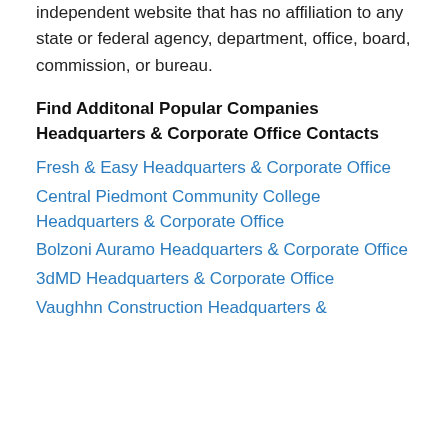independent website that has no affiliation to any state or federal agency, department, office, board, commission, or bureau.
Find Additonal Popular Companies Headquarters & Corporate Office Contacts
Fresh & Easy Headquarters & Corporate Office
Central Piedmont Community College Headquarters & Corporate Office
Bolzoni Auramo Headquarters & Corporate Office
3dMD Headquarters & Corporate Office
Vaughn Construction Headquarters &